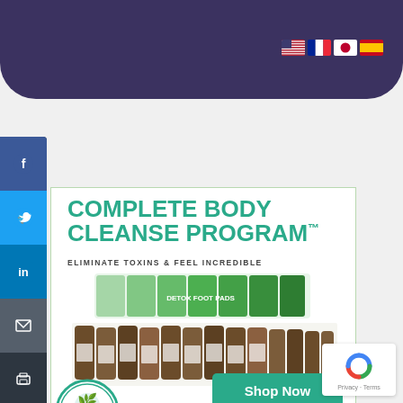[Figure (screenshot): Website screenshot showing a dark purple navigation header bar with language flag icons (US, France, Japan, Spain) in top right corner, a dark social media sharing sidebar on the left with Facebook, Twitter, LinkedIn, email, and print buttons, and a main advertisement box for 'Complete Body Cleanse Program' by Global Healing Center with teal/green text, product bottles image, a teal Shop Now button, and Free Shipping text. A reCAPTCHA privacy badge appears in bottom right.]